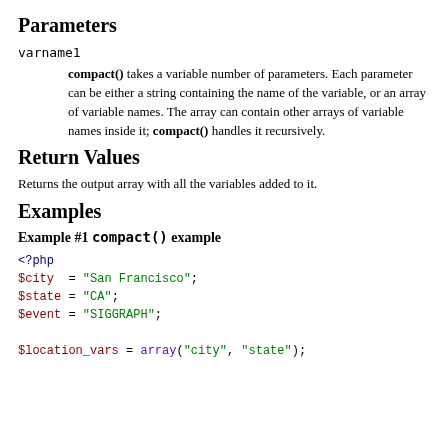Parameters
varname1
compact() takes a variable number of parameters. Each parameter can be either a string containing the name of the variable, or an array of variable names. The array can contain other arrays of variable names inside it; compact() handles it recursively.
Return Values
Returns the output array with all the variables added to it.
Examples
Example #1 compact() example
<?php
$city  = "San Francisco";
$state = "CA";
$event = "SIGGRAPH";

$location_vars = array("city", "state");